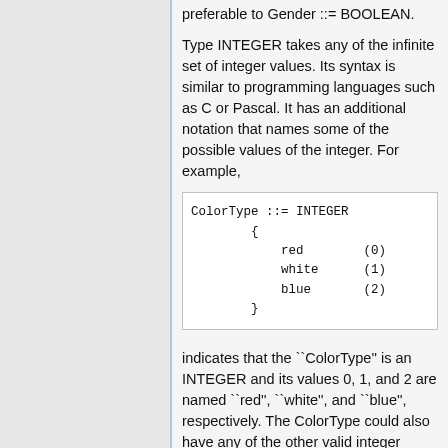preferable to Gender ::= BOOLEAN.
Type INTEGER takes any of the infinite set of integer values. Its syntax is similar to programming languages such as C or Pascal. It has an additional notation that names some of the possible values of the integer. For example,
ColorType ::= INTEGER
    {
        red        (0)
        white      (1)
        blue       (2)
    }
indicates that the ``ColorType'' is an INTEGER and its values 0, 1, and 2 are named ``red'', ``white'', and ``blue'', respectively. The ColorType could also have any of the other valid integer values, such as 4 or -62.